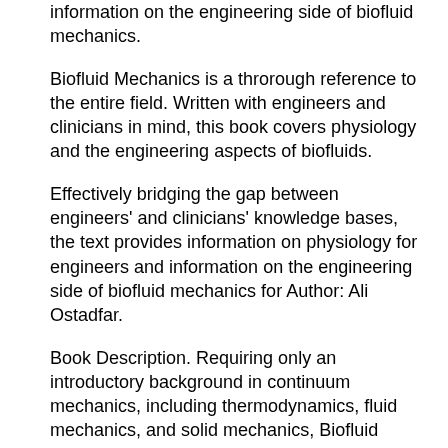information on the engineering side of biofluid mechanics.
Biofluid Mechanics is a throrough reference to the entire field. Written with engineers and clinicians in mind, this book covers physiology and the engineering aspects of biofluids.
Effectively bridging the gap between engineers' and clinicians' knowledge bases, the text provides information on physiology for engineers and information on the engineering side of biofluid mechanics for Author: Ali Ostadfar.
Book Description. Requiring only an introductory background in continuum mechanics, including thermodynamics, fluid mechanics, and solid mechanics, Biofluid Dynamics: Principles and Selected Applications contains review, methodology, and application chapters to build a solid understanding of medical implants and devices.
Biofluid mechanics is the study of a certain class of biological problems from a fluid mechanics point of view. Biofluid mechanics does not involve any new